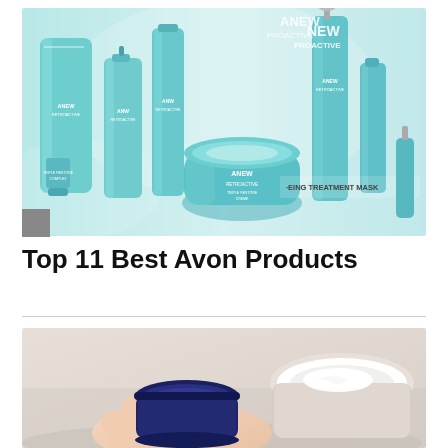[Figure (photo): Multiple ANEW Retroactive skincare products in teal/turquoise packaging including tubes, bottles, a spray bottle, a cream jar, and a treatment mask, arranged on a light blue/white background. Products are labeled ANEW RETROACTIVE and ANEW PROACTIVE.]
Top 11 Best Avon Products
[Figure (photo): Close-up of a hand holding a dark navy blue circular container/jar of cream, with another open white jar of cream visible in the background on a light surface.]